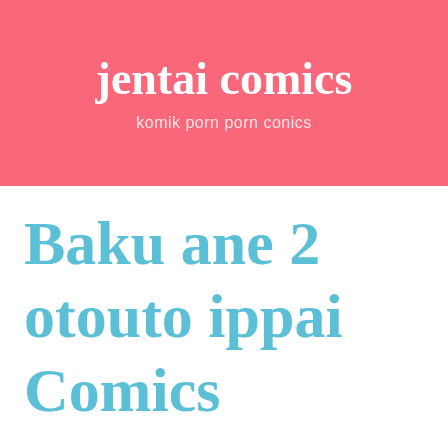jentai comics
komik porn porn conics
Baku ane 2 otouto ippai Comics